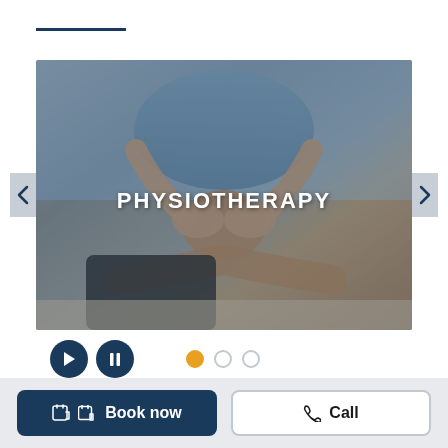[Figure (photo): Physiotherapy session: a therapist in blue shirt manipulates a patient's knee/leg on a treatment table. Image used as a carousel/slider with text overlay 'PHYSIOTHERAPY'. Navigation arrows on left and right. Play and pause buttons below with three dot indicators.]
Book now
Call